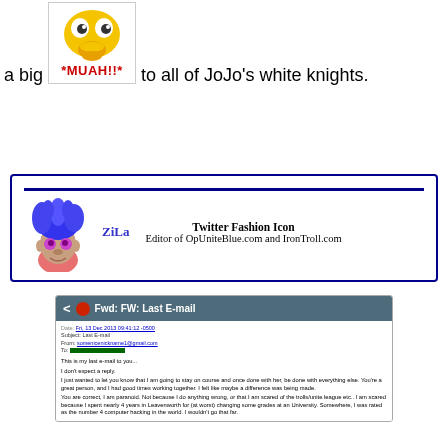[Figure (illustration): Yellow emoji face with wide eyes and a surprised/kissing expression, with text '*MUAH!!*' in red bold letters below it, inside a bordered box]
a big *MUAH!!* to all of JoJo's white knights.
[Figure (illustration): Profile card with a blue-haired troll doll image on left, username 'ZiLa' in blue, and text 'Twitter Fashion Icon / Editor of OpUniteBlue.com and IronTroll.com' on right, bordered in dark blue]
[Figure (screenshot): Screenshot of an email interface showing 'Fwd: FW: Last E-mail' with email metadata (date, subject, from, to) and body text about being the last email, not expecting a reply, describing paranoia about spending time in Leavenworth and being ranked as a computer hacker]